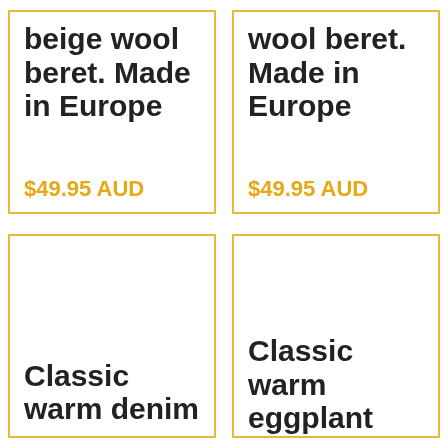beige wool beret. Made in Europe
$49.95 AUD
wool beret. Made in Europe
$49.95 AUD
Classic warm denim
Classic warm eggplant